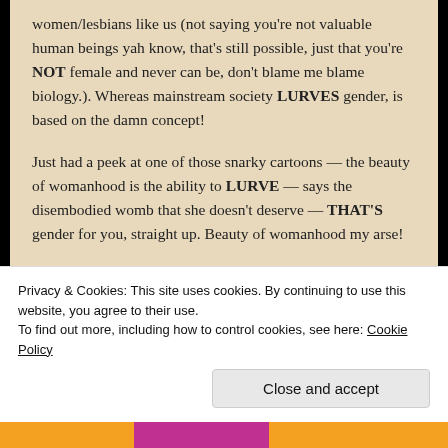women/lesbians like us (not saying you’re not valuable human beings yah know, that’s still possible, just that you’re NOT female and never can be, don’t blame me blame biology.). Whereas mainstream society LURVES gender, is based on the damn concept!
Just had a peek at one of those snarky cartoons — the beauty of womanhood is the ability to LURVE — says the disembodied womb that she doesn’t deserve — THAT’S gender for you, straight up. Beauty of womanhood my arse!
★ Like
Privacy & Cookies: This site uses cookies. By continuing to use this website, you agree to their use.
To find out more, including how to control cookies, see here: Cookie Policy
Close and accept